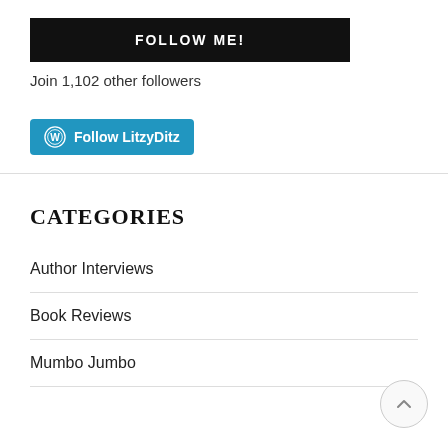[Figure (other): Black button with white uppercase text 'FOLLOW ME!']
Join 1,102 other followers
[Figure (other): WordPress Follow button in blue with 'Follow LitzyDitz' text and WordPress circle logo]
CATEGORIES
Author Interviews
Book Reviews
Mumbo Jumbo